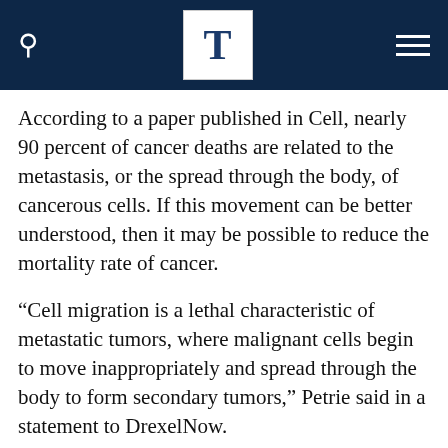T
According to a paper published in Cell, nearly 90 percent of cancer deaths are related to the metastasis, or the spread through the body, of cancerous cells. If this movement can be better understood, then it may be possible to reduce the mortality rate of cancer.
“Cell migration is a lethal characteristic of metastatic tumors, where malignant cells begin to move inappropriately and spread through the body to form secondary tumors,” Petrie said in a statement to DrexelNow.
According to him, there are clear differences in the movement of normal cells and their cancerous cell counterparts. Since there is a clear distinction, the cancerous cells can potentially be separately targeted to